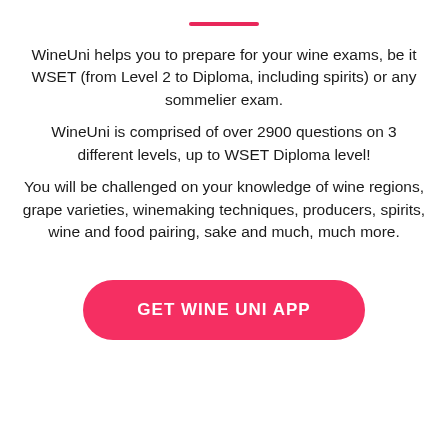WineUni helps you to prepare for your wine exams, be it WSET (from Level 2 to Diploma, including spirits) or any sommelier exam.
WineUni is comprised of over 2900 questions on 3 different levels, up to WSET Diploma level!
You will be challenged on your knowledge of wine regions, grape varieties, winemaking techniques, producers, spirits, wine and food pairing, sake and much, much more.
GET WINE UNI APP